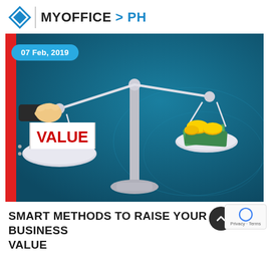[Figure (logo): MyOffice PH logo with blue diamond icon and text]
[Figure (illustration): Balance scale illustration with VALUE sign on left pan and coins/money on right pan, against teal background. Date badge: 07 Feb, 2019]
SMART METHODS TO RAISE YOUR BUSINESS VALUE